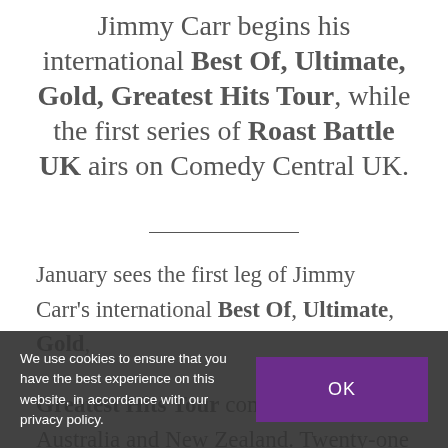Jimmy Carr begins his international Best Of, Ultimate, Gold, Greatest Hits Tour, while the first series of Roast Battle UK airs on Comedy Central UK.
January sees the first leg of Jimmy Carr's international Best Of, Ultimate, Gold, Greatest Hits Tour commence in Australia and New Zealand. Twenty-one performances across the two countries this month, kick off the tour which will take Jimmy to Ireland...
We use cookies to ensure that you have the best experience on this website, in accordance with our privacy policy.